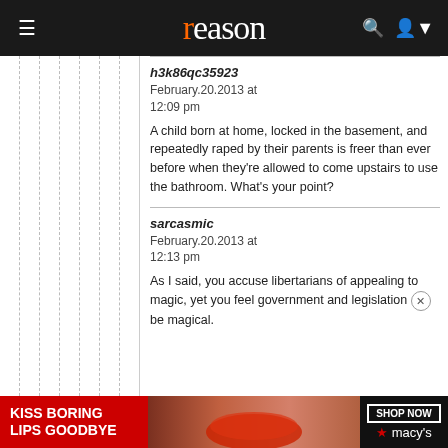reason
h3k86qc35923
February.20.2013 at 12:09 pm

A child born at home, locked in the basement, and repeatedly raped by their parents is freer than ever before when they’re allowed to come upstairs to use the bathroom. What’s your point?
sarcasmic
February.20.2013 at 12:13 pm

As I said, you accuse libertarians of appealing to magic, yet you feel government and legislation be magical.
[Figure (screenshot): Macy's advertisement banner: 'KISS BORING LIPS GOODBYE' with SHOP NOW button and Macy's star logo]
12:14 pm